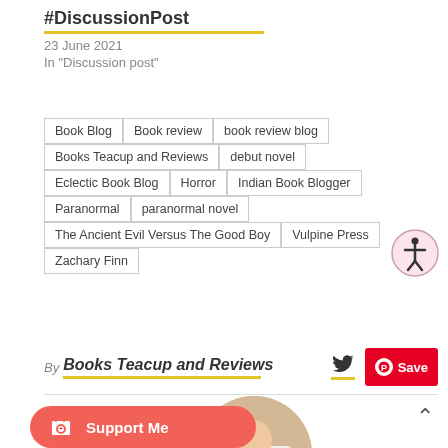#DiscussionPost
23 June 2021
In "Discussion post"
Book Blog
Book review
book review blog
Books Teacup and Reviews
debut novel
Eclectic Book Blog
Horror
Indian Book Blogger
Paranormal
paranormal novel
The Ancient Evil Versus The Good Boy
Vulpine Press
Zachary Finn
By Books Teacup and Reviews
[Figure (other): Support Me button with Ko-fi cup icon]
[Figure (photo): Circular profile photo of person with books]